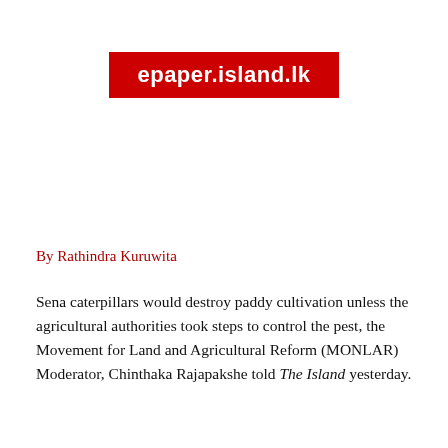[Figure (logo): Red banner with white text reading 'epaper.island.lk']
By Rathindra Kuruwita
Sena caterpillars would destroy paddy cultivation unless the agricultural authorities took steps to control the pest, the Movement for Land and Agricultural Reform (MONLAR) Moderator, Chinthaka Rajapakshe told The Island yesterday.